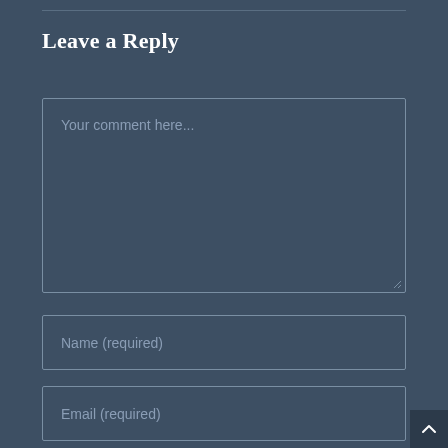Leave a Reply
[Figure (screenshot): Comment text area input field with placeholder text 'Your comment here...' on dark blue-grey background]
[Figure (screenshot): Name input field with placeholder text 'Name (required)' on dark blue-grey background]
[Figure (screenshot): Email input field with placeholder text 'Email (required)' on dark blue-grey background]